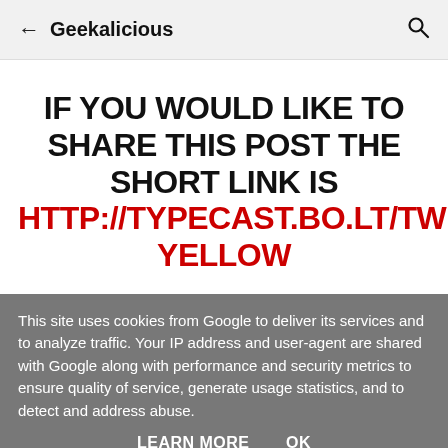← Geekalicious 🔍
IF YOU WOULD LIKE TO SHARE THIS POST THE SHORT LINK IS http://typecast.bo.lt/tweetdeck-yellow
This site uses cookies from Google to deliver its services and to analyze traffic. Your IP address and user-agent are shared with Google along with performance and security metrics to ensure quality of service, generate usage statistics, and to detect and address abuse.
LEARN MORE   OK